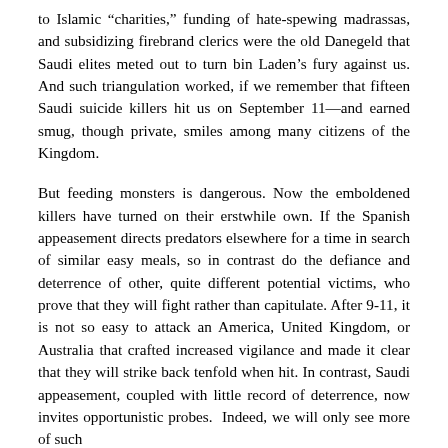to Islamic “charities,” funding of hate-spewing madrassas, and subsidizing firebrand clerics were the old Danegeld that Saudi elites meted out to turn bin Laden’s fury against us. And such triangulation worked, if we remember that fifteen Saudi suicide killers hit us on September 11—and earned smug, though private, smiles among many citizens of the Kingdom.
But feeding monsters is dangerous. Now the emboldened killers have turned on their erstwhile own. If the Spanish appeasement directs predators elsewhere for a time in search of similar easy meals, so in contrast do the defiance and deterrence of other, quite different potential victims, who prove that they will fight rather than capitulate. After 9-11, it is not so easy to attack an America, United Kingdom, or Australia that crafted increased vigilance and made it clear that they will strike back tenfold when hit. In contrast, Saudi appeasement, coupled with little record of deterrence, now invites opportunistic probes.  Indeed, we will only see more of such